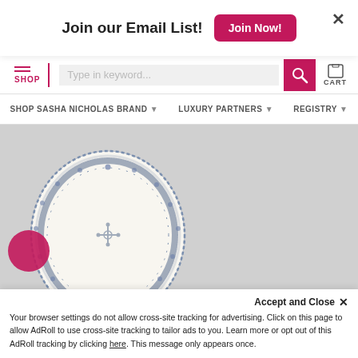Join our Email List!
Join Now!
SHOP | Type in keyword... | CART
SHOP SASHA NICHOLAS BRAND | LUXURY PARTNERS | REGISTRY
[Figure (photo): Blue and white decorative oval porcelain plate with floral border pattern, viewed from above on a gray background.]
Accept and Close ×
Your browser settings do not allow cross-site tracking for advertising. Click on this page to allow AdRoll to use cross-site tracking to tailor ads to you. Learn more or opt out of this AdRoll tracking by clicking here. This message only appears once.